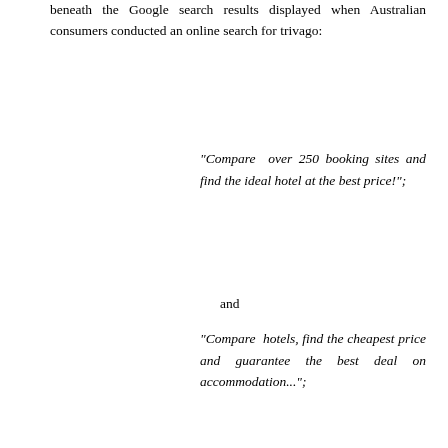beneath the Google search results displayed when Australian consumers conducted an online search for trivago:
“Compare over 250 booking sites and find the ideal hotel at the best price!”;
and
“Compare hotels, find the cheapest price and guarantee the best deal on accommodation...”;
(c) between 28 August 2016 and 29 May 2017, as alleged by the ACCC, trivago caused a television